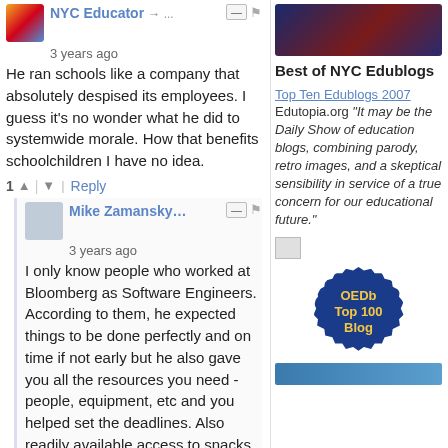NYC Educator → … 3 years ago
He ran schools like a company that absolutely despised its employees. I guess it's no wonder what he did to systemwide morale. How that benefits schoolchildren I have no idea.
1 ↑ | ↓ Reply
Mike Zamansky… 3 years ago
I only know people who worked at Bloomberg as Software Engineers. According to them, he expected things to be done perfectly and on time if not early but he also gave you all the resources you need - people, equipment, etc and you helped set the deadlines. Also readily available access to snacks.
The exact opposite of how he
Best of NYC Edublogs
Top Ten Edublogs 2007 Edutopia.org "It may be the Daily Show of education blogs, combining parody, retro images, and a skeptical sensibility in service of a true concern for our educational future."
[Figure (logo): OEDb Top 100 Blog badge - dark blue star burst shape with gold text]
[Figure (other): Partial blue button/banner at bottom of sidebar]